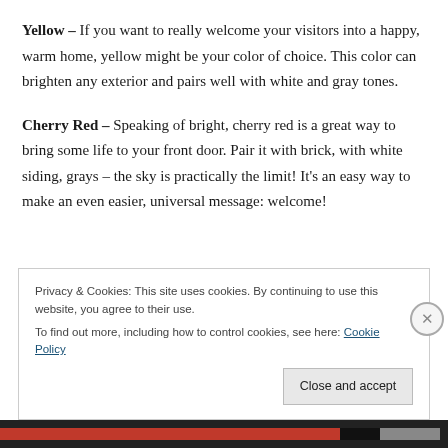Yellow – If you want to really welcome your visitors into a happy, warm home, yellow might be your color of choice. This color can brighten any exterior and pairs well with white and gray tones.
Cherry Red – Speaking of bright, cherry red is a great way to bring some life to your front door. Pair it with brick, with white siding, grays – the sky is practically the limit! It's an easy way to make an even easier, universal message: welcome!
Privacy & Cookies: This site uses cookies. By continuing to use this website, you agree to their use. To find out more, including how to control cookies, see here: Cookie Policy